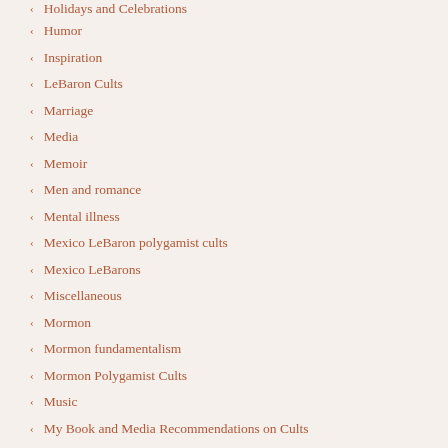Holidays and Celebrations
Humor
Inspiration
LeBaron Cults
Marriage
Media
Memoir
Men and romance
Mental illness
Mexico LeBaron polygamist cults
Mexico LeBarons
Miscellaneous
Mormon
Mormon fundamentalism
Mormon Polygamist Cults
Music
My Book and Media Recommendations on Cults
My LeBaron Family